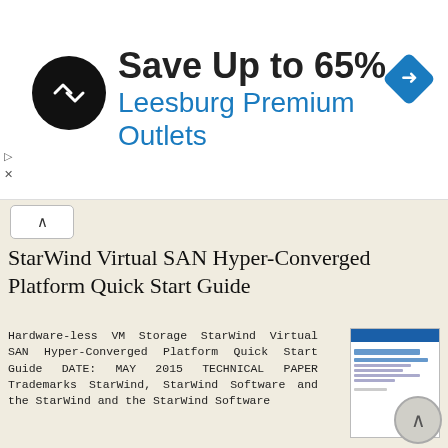[Figure (infographic): Ad banner: black circular logo with arrows icon, text 'Save Up to 65%' and 'Leesburg Premium Outlets' in blue, blue diamond navigation icon on right]
StarWind Virtual SAN Hyper-Converged Platform Quick Start Guide
Hardware-less VM Storage StarWind Virtual SAN Hyper-Converged Platform Quick Start Guide DATE: MAY 2015 TECHNICAL PAPER Trademarks StarWind, StarWind Software and the StarWind and the StarWind Software
More information →
Database Administration Guide
Database Administration Guide 013008 2008 Blackbaud, Inc. This publication, or any part thereof, may not be reproduced or